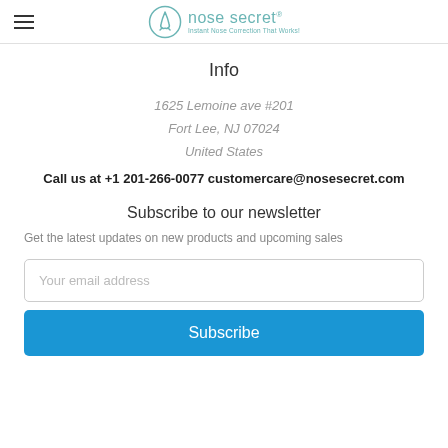[Figure (logo): Nose Secret logo with circular outline illustration of a nose and text 'nose secret' with tagline 'Instant Nose Correction That Works!']
Info
1625 Lemoine ave #201
Fort Lee, NJ 07024
United States
Call us at +1 201-266-0077 customercare@nosesecret.com
Subscribe to our newsletter
Get the latest updates on new products and upcoming sales
Your email address
Subscribe